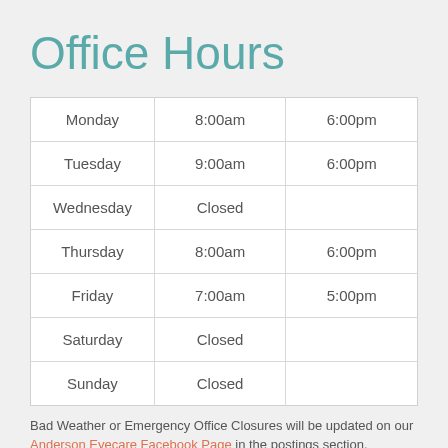Office Hours
| Monday | 8:00am | 6:00pm |
| Tuesday | 9:00am | 6:00pm |
| Wednesday | Closed |  |
| Thursday | 8:00am | 6:00pm |
| Friday | 7:00am | 5:00pm |
| Saturday | Closed |  |
| Sunday | Closed |  |
Bad Weather or Emergency Office Closures will be updated on our Anderson Eyecare Facebook Page in the postings section.